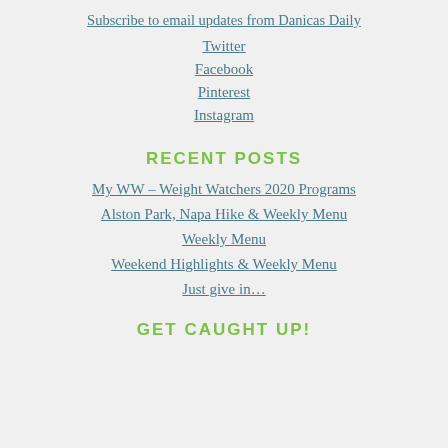Subscribe to email updates from Danicas Daily
Twitter
Facebook
Pinterest
Instagram
RECENT POSTS
My WW – Weight Watchers 2020 Programs
Alston Park, Napa Hike & Weekly Menu
Weekly Menu
Weekend Highlights & Weekly Menu
Just give in…
GET CAUGHT UP!